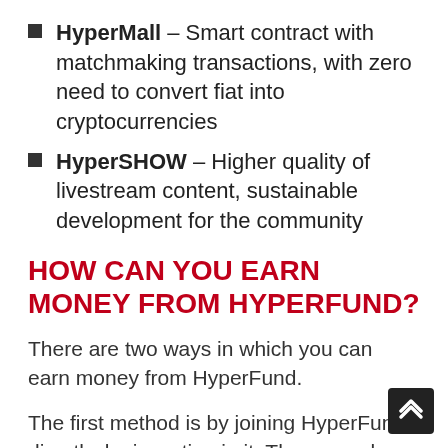HyperMall – Smart contract with matchmaking transactions, with zero need to convert fiat into cryptocurrencies
HyperSHOW – Higher quality of livestream content, sustainable development for the community
HOW CAN YOU EARN MONEY FROM HYPERFUND?
There are two ways in which you can earn money from HyperFund.
The first method is by joining HyperFund directly, by investing in it. The second one is by recruiting other members to join HyperFund, earning a commission once they